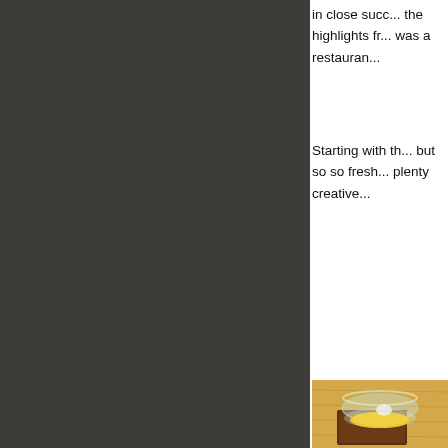in close succ... the highlights fr... was a restauran...
Starting with th... but so so fresh... plenty creative...
[Figure (photo): A glass bowl containing a yellow food item (possibly a dessert or condiment) placed on a dark wooden square coaster on a light wooden table surface.]